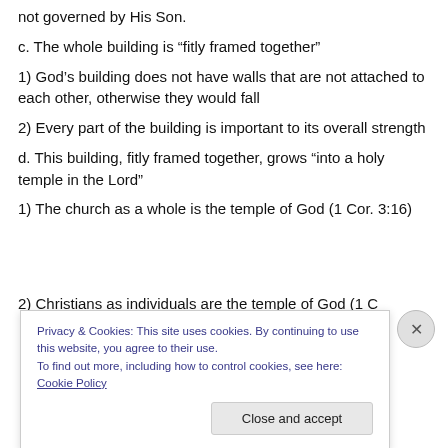not governed by His Son.
c. The whole building is “fitly framed together”
1) God’s building does not have walls that are not attached to each other, otherwise they would fall
2) Every part of the building is important to its overall strength
d. This building, fitly framed together, grows “into a holy temple in the Lord”
1) The church as a whole is the temple of God (1 Cor. 3:16)
2) Christians as individuals are the temple of God (1 C…
Privacy & Cookies: This site uses cookies. By continuing to use this website, you agree to their use. To find out more, including how to control cookies, see here: Cookie Policy
Close and accept